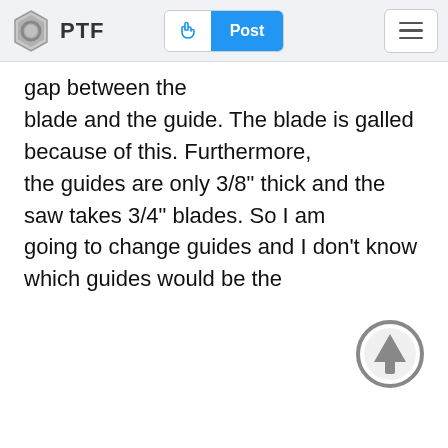PTF | Post
gap between the blade and the guide. The blade is galled because of this. Furthermore, the guides are only 3/8" thick and the saw takes 3/4" blades. So I am going to change guides and I don't know which guides would be the
[Figure (illustration): Circular up-arrow scroll-to-top button in gray]